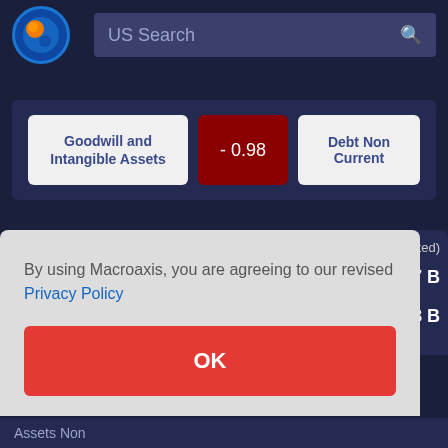[Figure (screenshot): Macroaxis website logo - circular icon with blue and orange design]
US Search
Goodwill and Intangible Assets
- 0.98
Debt Non Current
By using Macroaxis, you are agreeing to our revised Privacy Policy
OK
cted)
57 B
28 B
Assets Non